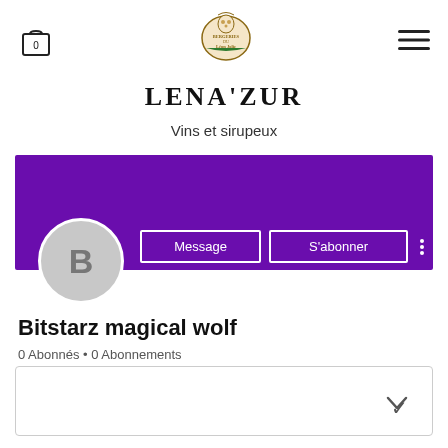[Figure (logo): Shopping cart icon with 0 badge]
[Figure (logo): Lena'Zur circular logo with illustration]
[Figure (illustration): Hamburger menu icon (three horizontal lines)]
LENA'ZUR
Vins et sirupeux
[Figure (screenshot): Purple banner background for user profile]
[Figure (illustration): Gray circular avatar with letter B]
Message
S'abonner
Bitstarz magical wolf
0 Abonnés • 0 Abonnements
[Figure (illustration): Expandable card with chevron down arrow]